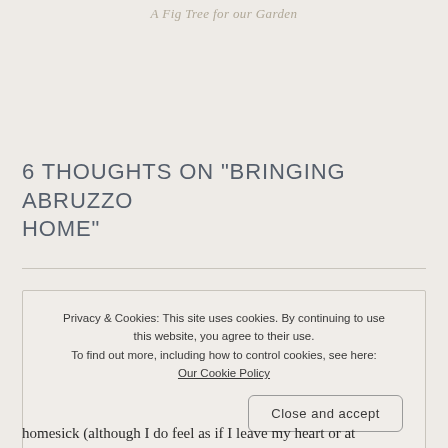A Fig Tree for our Garden
6 THOUGHTS ON “BRINGING ABRUZZO HOME”
Privacy & Cookies: This site uses cookies. By continuing to use this website, you agree to their use.
To find out more, including how to control cookies, see here:
Our Cookie Policy
Close and accept
homesick (although I do feel as if I leave my heart or at